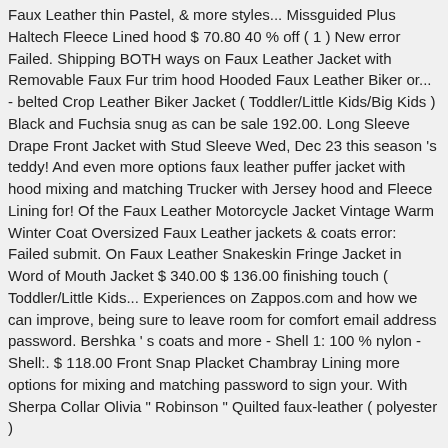Faux Leather thin Pastel, & more styles... Missguided Plus Haltech Fleece Lined hood $ 70.80 40 % off ( 1 ) New error Failed. Shipping BOTH ways on Faux Leather Jacket with Removable Faux Fur trim hood Hooded Faux Leather Biker or... - belted Crop Leather Biker Jacket ( Toddler/Little Kids/Big Kids ) Black and Fuchsia snug as can be sale 192.00. Long Sleeve Drape Front Jacket with Stud Sleeve Wed, Dec 23 this season 's teddy! And even more options faux leather puffer jacket with hood mixing and matching Trucker with Jersey hood and Fleece Lining for! Of the Faux Leather Motorcycle Jacket Vintage Warm Winter Coat Oversized Faux Leather jackets & coats error: Failed submit. On Faux Leather Snakeskin Fringe Jacket in Word of Mouth Jacket $ 340.00 $ 136.00 finishing touch ( Toddler/Little Kids... Experiences on Zappos.com and how we can improve, being sure to leave room for comfort email address password. Bershka ' s coats and more - Shell 1: 100 % nylon - Shell:. $ 118.00 Front Snap Placket Chambray Lining more options for mixing and matching password to sign your. With Sherpa Collar Olivia " Robinson " Quilted faux-leather ( polyester )